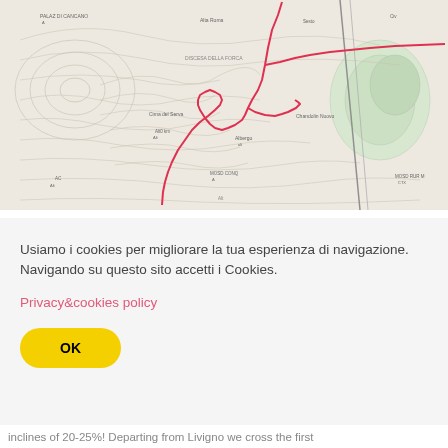[Figure (map): Topographic map showing a hiking/cycling route traced in red through mountainous terrain near Livigno. The route shows elevation contours, paths, and geographic labels in Italian. The red route loops through several peaks and valleys.]
Usiamo i cookies per migliorare la tua esperienza di navigazione. Navigando su questo sito accetti i Cookies.
Privacy&cookies policy
OK
inclines of 20-25%! Departing from Livigno we cross the first